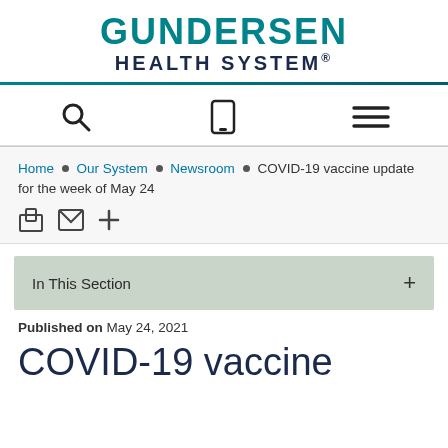[Figure (logo): Gundersen Health System logo with teal GUNDERSEN text and dark navy HEALTH SYSTEM text]
[Figure (screenshot): Navigation bar with search magnifying glass icon, mobile phone icon, and hamburger menu icon]
Home ■ Our System ■ Newsroom ■ COVID-19 vaccine update for the week of May 24
[Figure (screenshot): Share icons: print, email, and plus button]
In This Section +
Published on May 24, 2021
COVID-19 vaccine